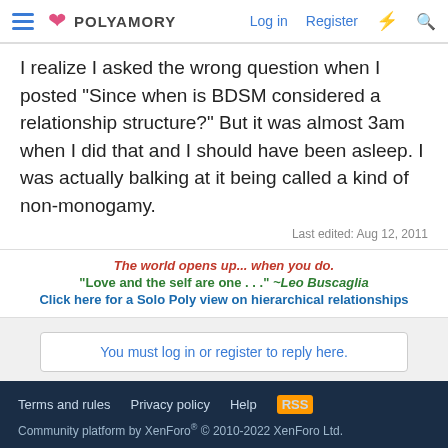☰ 💗 POLYAMORY   Log in   Register   ⚡   🔍
I realize I asked the wrong question when I posted "Since when is BDSM considered a relationship structure?" But it was almost 3am when I did that and I should have been asleep. I was actually balking at it being called a kind of non-monogamy.
Last edited: Aug 12, 2011
The world opens up... when you do.
"Love and the self are one . . ." ~Leo Buscaglia
Click here for a Solo Poly view on hierarchical relationships
You must log in or register to reply here.
Share:
< Poly Relationships Corner
Terms and rules   Privacy policy   Help   RSS
Community platform by XenForo® © 2010-2022 XenForo Ltd.